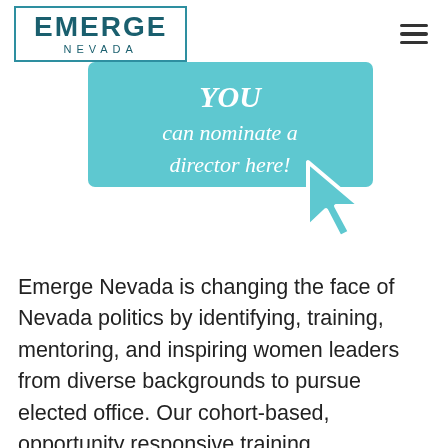EMERGE NEVADA
[Figure (infographic): Teal rounded rectangle banner with white italic script text reading 'YOU can nominate a director here!' with a large teal mouse cursor arrow graphic pointing to the bottom-right of the banner.]
Emerge Nevada is changing the face of Nevada politics by identifying, training, mentoring, and inspiring women leaders from diverse backgrounds to pursue elected office. Our cohort-based, opportunity responsive training...